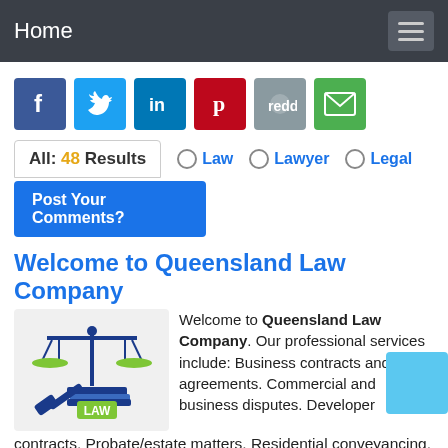Home
[Figure (infographic): Social media share icons: Facebook, Twitter, LinkedIn, Pinterest, Reddit, Email]
All: 48 Results   ○ Law   ○ Lawyer   ○ Legal
Post Your Comments?
Welcome to Queensland Law Company
[Figure (illustration): Law scales and gavel illustration with LAW text]
Welcome to Queensland Law Company. Our professional services include: Business contracts and agreements. Commercial and business disputes. Developer contracts. Probate/estate matters. Residential conveyancing. Sale and transfer of businesses.